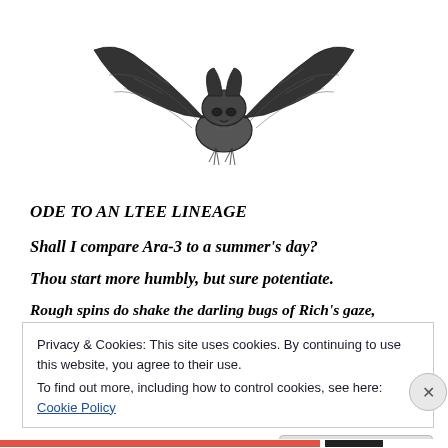[Figure (illustration): A black and white pencil or ink sketch of a bat or dark creature with wings spread, viewed from below/front, with detailed crosshatching texture.]
ODE TO AN LTEE LINEAGE
Shall I compare Ara-3 to a summer’s day?
Thou start more humbly, but sure potentiate.
Rough spins do shake the darling bugs of Rich’s gaze,
Privacy & Cookies: This site uses cookies. By continuing to use this website, you agree to their use.
To find out more, including how to control cookies, see here: Cookie Policy
Close and accept